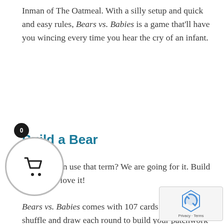Inman of The Oatmeal. With a silly setup and quick and easy rules, Bears vs. Babies is a game that'll have you wincing every time you hear the cry of an infant.
Build a Bear
Can we even use that term? We are going for it. Build a bear and love it!
Bears vs. Babies comes with 107 cards that you'll shuffle and draw each round to build your patchwork bear and fend off the oncoming army of evil babies. The cards involve a mix of monster heads and body parts you collect to build your magnificent be... You can also collect hats, masks, and tools f...